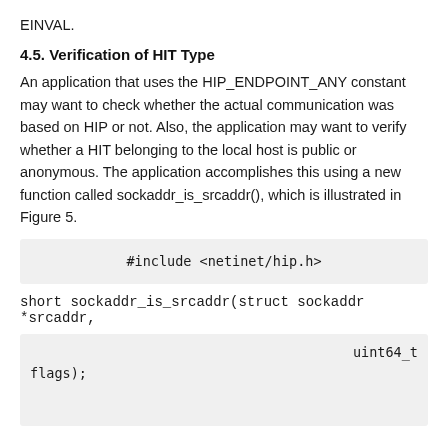EINVAL.
4.5. Verification of HIT Type
An application that uses the HIP_ENDPOINT_ANY constant may want to check whether the actual communication was based on HIP or not. Also, the application may want to verify whether a HIT belonging to the local host is public or anonymous. The application accomplishes this using a new function called sockaddr_is_srcaddr(), which is illustrated in Figure 5.
#include <netinet/hip.h>
short sockaddr_is_srcaddr(struct sockaddr *srcaddr,
uint64_t
flags);